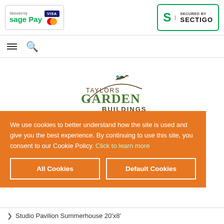[Figure (logo): Sage Pay secured badge with Visa and Mastercard icons]
[Figure (logo): Secured by Sectigo badge with green border]
[Figure (logo): Taylors Garden Buildings logo with birds and curved line]
We use cookies to better understand how the site is used and give you the best experience. By continuing to use this site, you consent to our Cookie Policy. Click to learn more
All Cookies
Default Cookies
Studio Pavilion Summerhouse 20'x8'